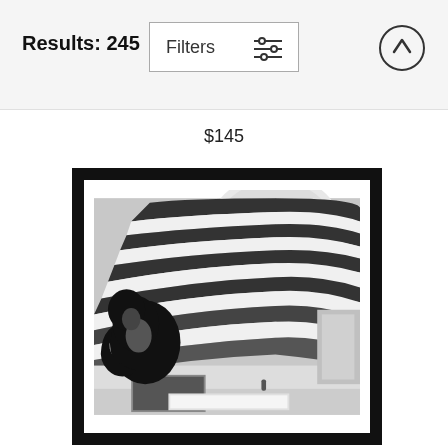Results: 245
Filters
$145
[Figure (photo): Black and white framed photograph of the Guggenheim Museum interior, showing the iconic spiral rotunda with curved balconies and a domed skylight, with a dark sculpture in the foreground.]